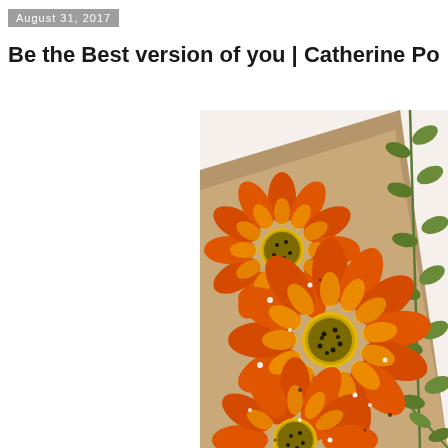August 31, 2017
Be the Best version of you | Catherine Po
[Figure (illustration): A hand-drawn or painted illustration of orange sunflower-like flowers with yellow centers, black speckles, and green leafy stems arranged on a kraft brown card background. The flowers have detailed petal textures with orange and yellow coloring, and white dot highlights scattered across the image.]